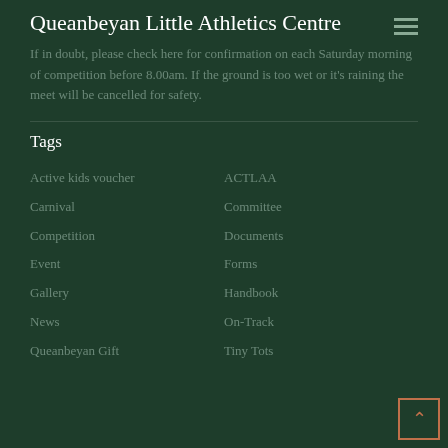Queanbeyan Little Athletics Centre
If in doubt, please check here for confirmation on each Saturday morning of competition before 8.00am. If the ground is too wet or it's raining the meet will be cancelled for safety.
Tags
Active kids voucher
ACTLAA
Carnival
Committee
Competition
Documents
Event
Forms
Gallery
Handbook
News
On-Track
Queanbeyan Gift
Tiny Tots